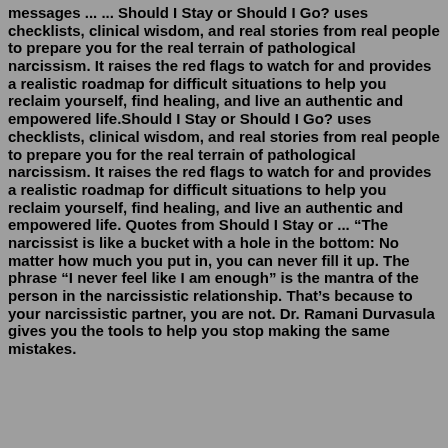messages ... ... Should I Stay or Should I Go? uses checklists, clinical wisdom, and real stories from real people to prepare you for the real terrain of pathological narcissism. It raises the red flags to watch for and provides a realistic roadmap for difficult situations to help you reclaim yourself, find healing, and live an authentic and empowered life.Should I Stay or Should I Go? uses checklists, clinical wisdom, and real stories from real people to prepare you for the real terrain of pathological narcissism. It raises the red flags to watch for and provides a realistic roadmap for difficult situations to help you reclaim yourself, find healing, and live an authentic and empowered life. Quotes from Should I Stay or ... “The narcissist is like a bucket with a hole in the bottom: No matter how much you put in, you can never fill it up. The phrase “I never feel like I am enough” is the mantra of the person in the narcissistic relationship. That’s because to your narcissistic partner, you are not. Dr. Ramani Durvasula gives you the tools to help you stop making the same mistakes.